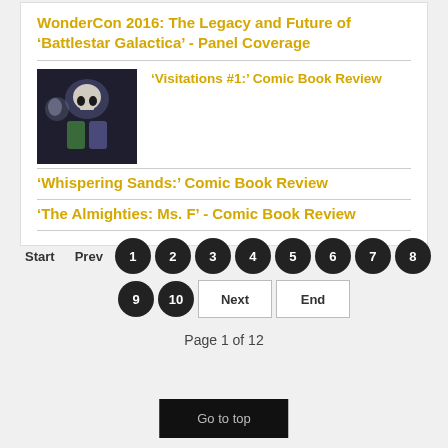WonderCon 2016: The Legacy and Future of ‘Battlestar Galactica’ - Panel Coverage
[Figure (photo): Comic book cover art thumbnail showing a dark themed illustration with a skull and character figures]
‘Visitations #1:’ Comic Book Review
‘Whispering Sands:’ Comic Book Review
‘The Almighties: Ms. F’ - Comic Book Review
Start  Prev  1  2  3  4  5  6  7  8  9  10  Next  End
Page 1 of 12
Go to top